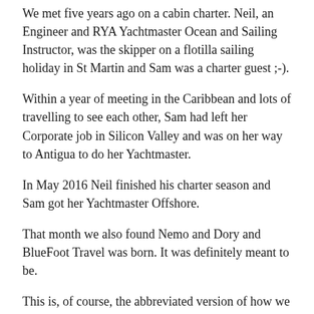We met five years ago on a cabin charter. Neil, an Engineer and RYA Yachtmaster Ocean and Sailing Instructor, was the skipper on a flotilla sailing holiday in St Martin and Sam was a charter guest ;-).
Within a year of meeting in the Caribbean and lots of travelling to see each other, Sam had left her Corporate job in Silicon Valley and was on her way to Antigua to do her Yachtmaster.
In May 2016 Neil finished his charter season and Sam got her Yachtmaster Offshore.
That month we also found Nemo and Dory and BlueFoot Travel was born. It was definitely meant to be.
This is, of course, the abbreviated version of how we met! You can find out more about us here.